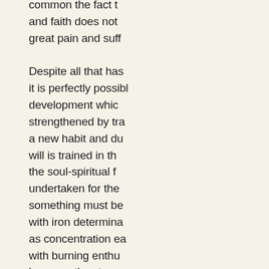common the fact t and faith does not great pain and suff Despite all that has it is perfectly possi development whic strengthened by tra a new habit and du will is trained in th the soul-spiritual f undertaken for the something must be with iron determina as concentration ea with burning enthu because the strong overcome is one's o